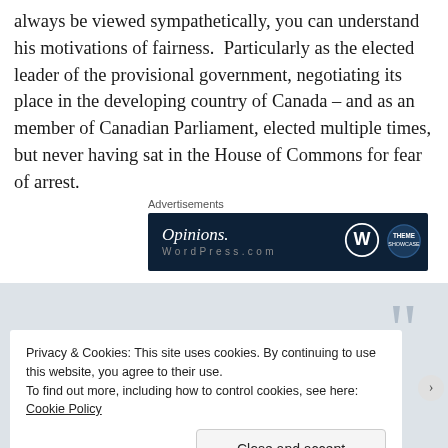always be viewed sympathetically, you can understand his motivations of fairness.  Particularly as the elected leader of the provisional government, negotiating its place in the developing country of Canada – and as an member of Canadian Parliament, elected multiple times, but never having sat in the House of Commons for fear of arrest.
Advertisements
[Figure (other): Advertisement banner with dark navy background showing 'Opinions.' text in italic serif font on the left and a WordPress logo circle on the right with a secondary circular logo badge.]
[Figure (other): Gray section with a large quotation mark watermark in light gray on the right side.]
Privacy & Cookies: This site uses cookies. By continuing to use this website, you agree to their use.
To find out more, including how to control cookies, see here: Cookie Policy
Close and accept